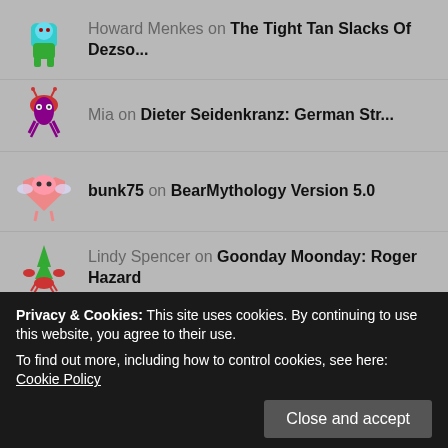Howard Menkes on The Tight Tan Slacks Of Dezso...
Mia on Dieter Seidenkranz: German Str...
bunk75 on BearMythology Version 5.0
Lindy Spencer on Goonday Moonday: Roger Hazard
Lindy Spencer on Goonday Moonday: Roger Hazard
veryvirgo on Goonday Moonday: Roger Hazard
Veryvirgo on Goonday Moonday: Roger Hazard
Privacy & Cookies: This site uses cookies. By continuing to use this website, you agree to their use. To find out more, including how to control cookies, see here: Cookie Policy